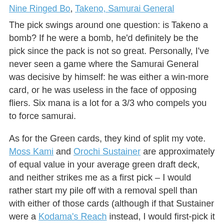Nine Ringed Bo, Takeno, Samurai General
The pick swings around one question: is Takeno a bomb? If he were a bomb, he'd definitely be the pick since the pack is not so great. Personally, I've never seen a game where the Samurai General was decisive by himself: he was either a win-more card, or he was useless in the face of opposing fliers. Six mana is a lot for a 3/3 who compels you to force samurai.
As for the Green cards, they kind of split my vote. Moss Kami and Orochi Sustainer are approximately of equal value in your average green draft deck, and neither strikes me as a first pick – I would rather start my pile off with a removal spell than with either of those cards (although if that Sustainer were a Kodama's Reach instead, I would first-pick it in a second).
So, I would probably close my eyes and take Reciprocate, because it's cheap, it can target almost anybody, and it